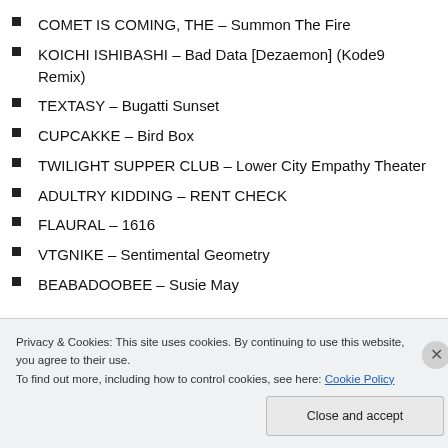COMET IS COMING, THE  –  Summon The Fire
KOICHI ISHIBASHI  –  Bad Data [Dezaemon] (Kode9 Remix)
TEXTASY  –  Bugatti Sunset
CUPCAKKE  –  Bird Box
TWILIGHT SUPPER CLUB  –  Lower City Empathy Theater
ADULTRY KIDDING  –  RENT CHECK
FLAURAL  –  1616
VTGNIKE  –  Sentimental Geometry
BEABADOOBEE  –  Susie May
Privacy & Cookies: This site uses cookies. By continuing to use this website, you agree to their use.
To find out more, including how to control cookies, see here: Cookie Policy